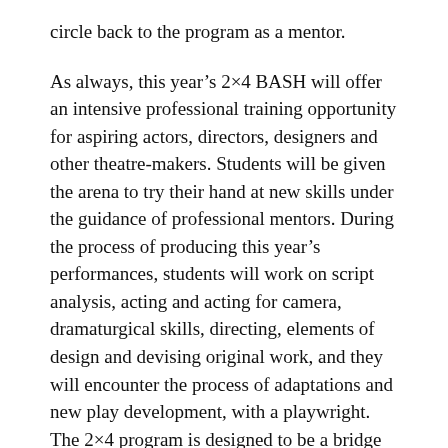circle back to the program as a mentor.
As always, this year's 2×4 BASH will offer an intensive professional training opportunity for aspiring actors, directors, designers and other theatre-makers. Students will be given the arena to try their hand at new skills under the guidance of professional mentors. During the process of producing this year's performances, students will work on script analysis, acting and acting for camera, dramaturgical skills, directing, elements of design and devising original work, and they will encounter the process of adaptations and new play development, with a playwright. The 2×4 program is designed to be a bridge between Hartnell Theatre Arts & Cinema Department's fully student-run projects and The Western Stage's rigorous season productions.
“We believe in a holistic and interdisciplinary approach